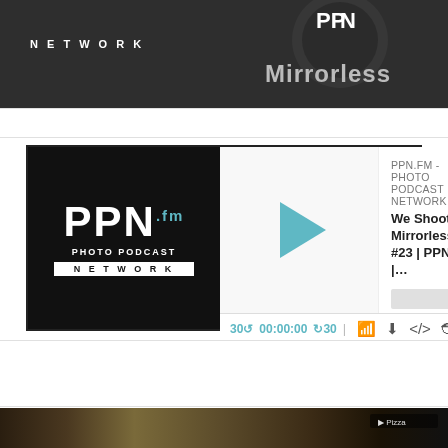[Figure (screenshot): Dark banner with PPN.FM Photo Podcast Network logo on left and 'Mirrorless' text with partial logo on right, white text on dark background]
[Figure (screenshot): Podcast player widget for PPN.FM - Photo Podcast Network showing episode 'We Shoot Mirrorless #23 | PPN |...' with play button, progress bar, time display 00:00:00, and control icons]
[Figure (photo): Dark panoramic photograph at bottom, appears to be an outdoor scene]